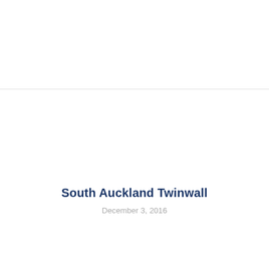South Auckland Twinwall
December 3, 2016